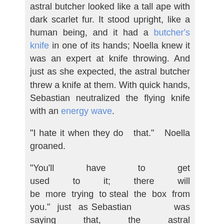astral butcher looked like a tall ape with dark scarlet fur. It stood upright, like a human being, and it had a butcher's knife in one of its hands; Noella knew it was an expert at knife throwing. And just as she expected, the astral butcher threw a knife at them. With quick hands, Sebastian neutralized the flying knife with an energy wave.
"I hate it when they do that." Noella groaned.
"You'll have to get used to it; there will be more trying to steal the box from you." just as Sebastian was saying that, the astral butcher made a potion appear in its hand, a bile green fluid in a transparent